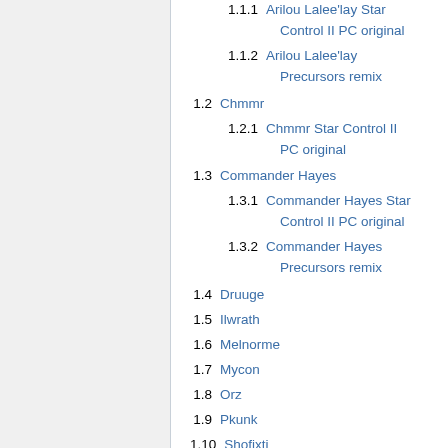1.1.1 Arilou Lalee'lay Star Control II PC original
1.1.2 Arilou Lalee'lay Precursors remix
1.2 Chmmr
1.2.1 Chmmr Star Control II PC original
1.3 Commander Hayes
1.3.1 Commander Hayes Star Control II PC original
1.3.2 Commander Hayes Precursors remix
1.4 Druuge
1.5 Ilwrath
1.6 Melnorme
1.7 Mycon
1.8 Orz
1.9 Pkunk
1.10 Shofixti
1.11 Slylandro Homeworld
1.12 Slylandro Probe